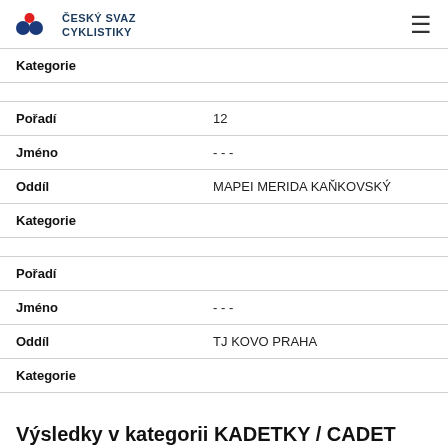ČESKÝ SVAZ CYKLISTIKY
| Kategorie |  |
| --- | --- |
| Pořadí | 12 |
| Jméno | - - - |
| Oddíl | MAPEI MERIDA KAŇKOVSKÝ |
| Kategorie |  |
| Pořadí |  |
| Jméno | - - - |
| Oddíl | TJ KOVO PRAHA |
| Kategorie |  |
Výsledky v kategorii KADETKY / CADET FEMINI